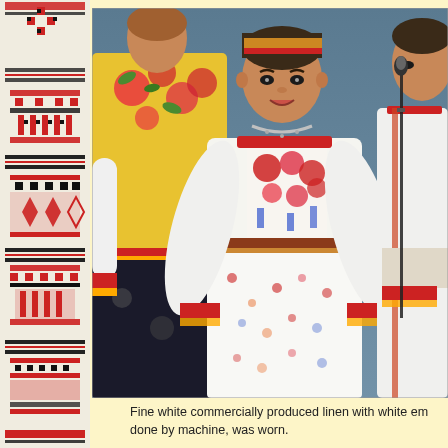[Figure (illustration): Left decorative strip showing traditional embroidery pattern with red, black, and white geometric and floral cross-stitch designs on a white fabric background]
[Figure (photo): Photo of people wearing traditional Eastern European folk costumes. Center woman wears white embroidered blouse with floral patterns and a white floral skirt. Left person wears yellow floral top with black skirt. Right person wears white shirt with red accents. A microphone stand is visible on the right.]
Fine white commercially produced linen with white em done by machine, was worn.